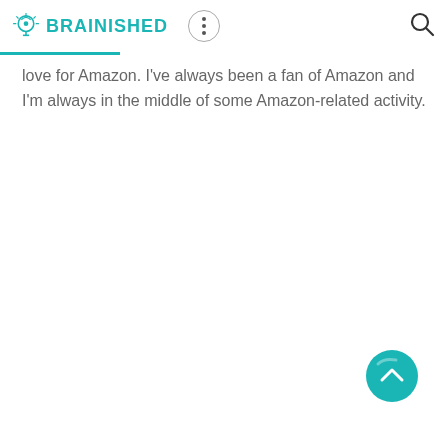BRAINISHED
love for Amazon. I've always been a fan of Amazon and I'm always in the middle of some Amazon-related activity.
[Figure (other): Scroll-to-top teal circular button with upward chevron arrow]